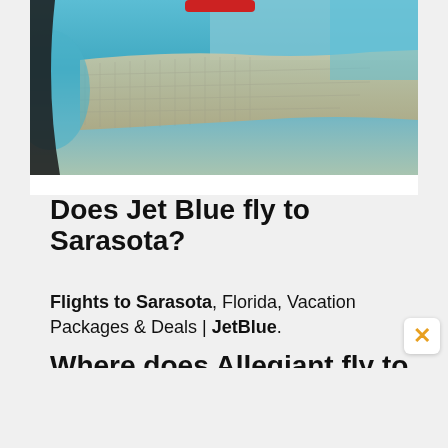[Figure (photo): Aerial view of a coastal city/barrier island taken from a plane window, showing ocean, beach, and urban development below]
Does Jet Blue fly to Sarasota?
Flights to Sarasota, Florida, Vacation Packages & Deals | JetBlue.
Where does Allegiant fly to from Sarasota?